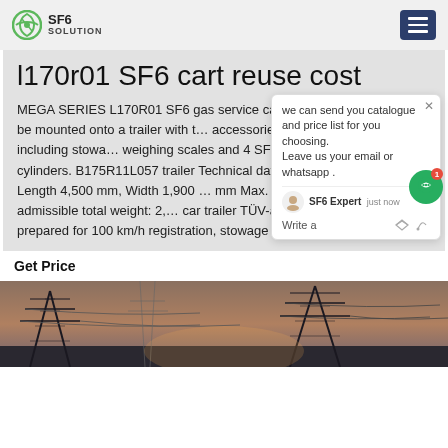SF6 SOLUTION
l170r01 SF6 cart reuse cost
MEGA SERIES L170R01 SF6 gas service carts Can be mounted onto a trailer with the accessories: Device including stowage weighing scales and 4 SF6 cylinders. B175R11L057 trailer Technical data: Length 4,500 mm, Width 1,900 mm Max. admissible total weight: 2,000 kg 1-axle car trailer TÜV-approved, prepared for 100 km/h registration, stowage
Get Price
[Figure (photo): Electrical power transmission towers/pylons against a sunset sky, with power lines visible]